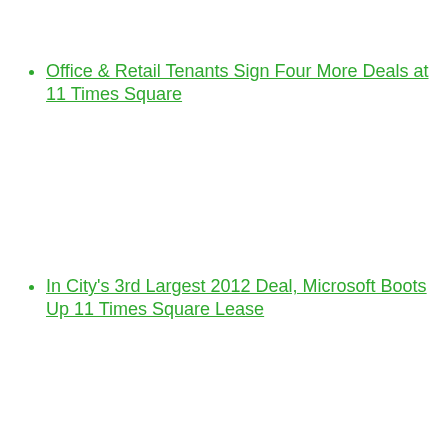Office & Retail Tenants Sign Four More Deals at 11 Times Square
In City's 3rd Largest 2012 Deal, Microsoft Boots Up 11 Times Square Lease